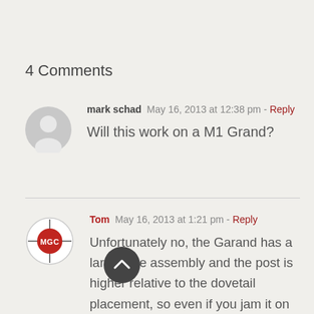4 Comments
mark schad  May 16, 2013 at 12:38 pm - Reply
Will this work on a M1 Grand?
Tom  May 16, 2013 at 1:21 pm - Reply
Unfortunately no, the Garand has a larger site assembly and the post is higher relative to the dovetail placement, so even if you jam it on there, the point of impact would be off vertically. However, Smith